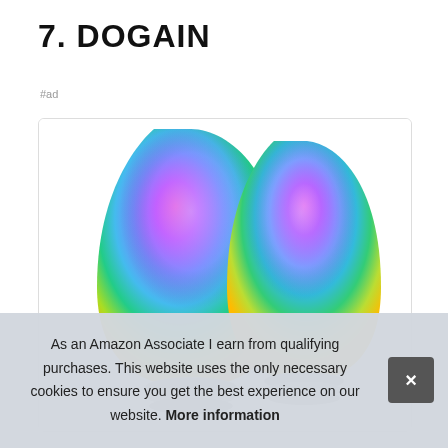7. DOGAIN
#ad
[Figure (photo): Two tall rounded RGB LED light bulbs or cat ear shaped lights showing a colorful gradient from magenta/pink at the top through purple, blue, green, and yellow/orange at the bottom, displayed inside a white product card with a light gray border.]
As an Amazon Associate I earn from qualifying purchases. This website uses the only necessary cookies to ensure you get the best experience on our website. More information